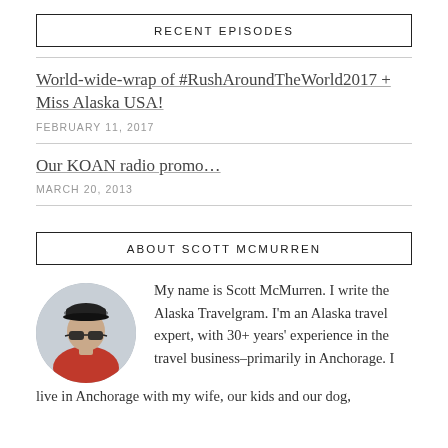RECENT EPISODES
World-wide-wrap of #RushAroundTheWorld2017 + Miss Alaska USA!
FEBRUARY 11, 2017
Our KOAN radio promo…
MARCH 20, 2013
ABOUT SCOTT MCMURREN
[Figure (photo): Circular portrait photo of Scott McMurren wearing a dark cap and sunglasses, dressed in a red jacket]
My name is Scott McMurren. I write the Alaska Travelgram. I'm an Alaska travel expert, with 30+ years' experience in the travel business–primarily in Anchorage. I live in Anchorage with my wife, our kids and our dog,